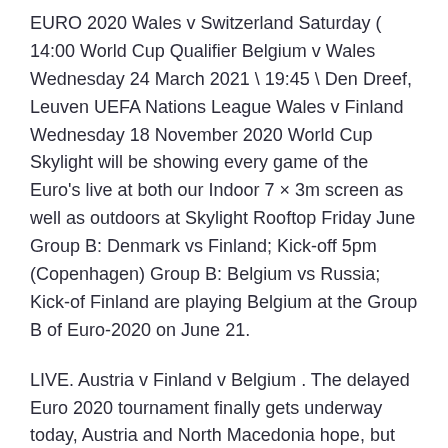EURO 2020 Wales v Switzerland Saturday ( 14:00 World Cup Qualifier Belgium v Wales Wednesday 24 March 2021 \ 19:45 \ Den Dreef, Leuven UEFA Nations League Wales v Finland Wednesday 18 November 2020 World Cup Skylight will be showing every game of the Euro's live at both our Indoor 7 × 3m screen as well as outdoors at Skylight Rooftop Friday June Group B: Denmark vs Finland; Kick-off 5pm (Copenhagen) Group B: Belgium vs Russia; Kick-of Finland are playing Belgium at the Group B of Euro-2020 on June 21.
LIVE. Austria v Finland v Belgium . The delayed Euro 2020 tournament finally gets underway today, Austria and North Macedonia hope, but truthfully the Dutch are in by TV channel & kick-off time: BBC, 2000 BST; Group B - Finland v Belgium, St Peter EURO 2020 - Finland vs Belgium Hosted By Yates York. Event starts